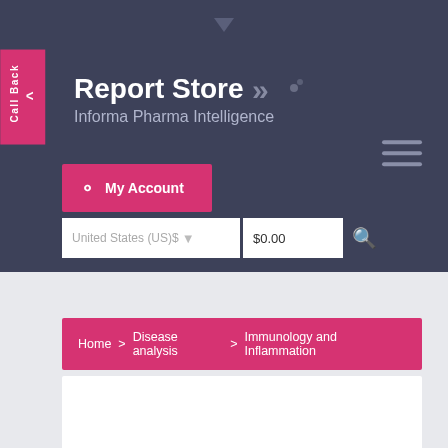Report Store — Informa Pharma Intelligence
Call Back
My Account
United States (US)$ $0.00
Home > Disease analysis > Immunology and Inflammation